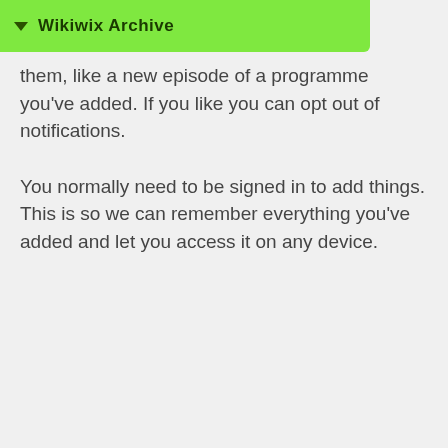Wikiwix Archive
them, like a new episode of a programme you've added. If you like you can opt out of notifications.

You normally need to be signed in to add things. This is so we can remember everything you've added and let you access it on any device.